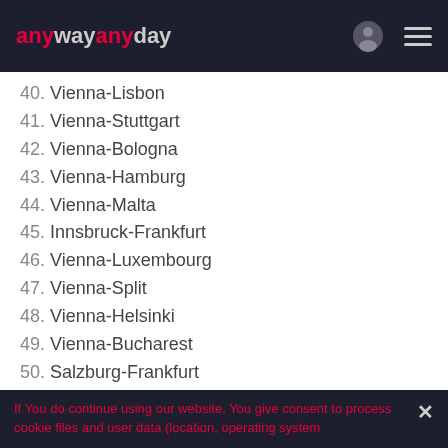anywayanyday
40. Vienna-Lisbon
41. Vienna-Stuttgart
42. Vienna-Bologna
43. Vienna-Hamburg
44. Vienna-Malta
45. Innsbruck-Frankfurt
46. Vienna-Luxembourg
47. Vienna-Split
48. Vienna-Helsinki
49. Vienna-Bucharest
50. Salzburg-Frankfurt
More
If You do continue using our website, You give consent to process cookie files and user data (location, operating system